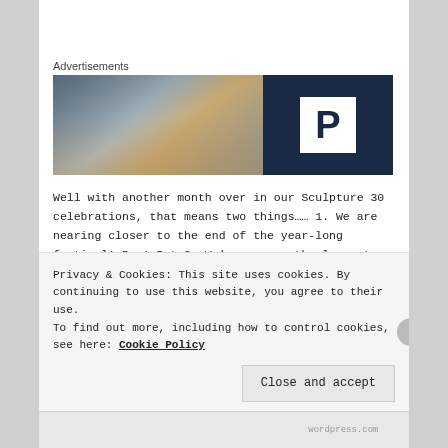Advertisements
[Figure (photo): Advertisement banner: left half shows a blurred indoor/outdoor photo, right half is dark navy blue with a white box containing a bold letter P (parking logo).]
Well with another month over in our Sculpture 30 celebrations, that means two things…… 1. We are nearing closer to the end of the year-long festival! Boo! But 2. We're one month closer to the next Gateshead Family Sculpture Day, which this year is on 25th September, as always in
Privacy & Cookies: This site uses cookies. By continuing to use this website, you agree to their use.
To find out more, including how to control cookies, see here: Cookie Policy
Close and accept